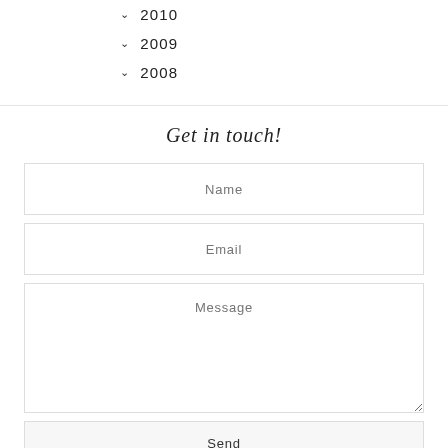2010
2009
2008
Get in touch!
Name
Email
Message
Send